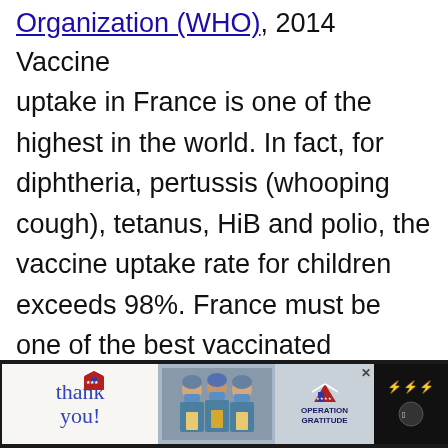Organization (WHO), 2014 Vaccine uptake in France is one of the highest in the world. In fact, for diphtheria, pertussis (whooping cough), tetanus, HiB and polio, the vaccine uptake rate for children exceeds 98%. France must be one of the best vaccinated countries on the planet.
Don't miss each new article!
Email Address
[Figure (screenshot): Advertisement banner at bottom: 'Thank you!' Operation Gratitude ad with nurses photo]